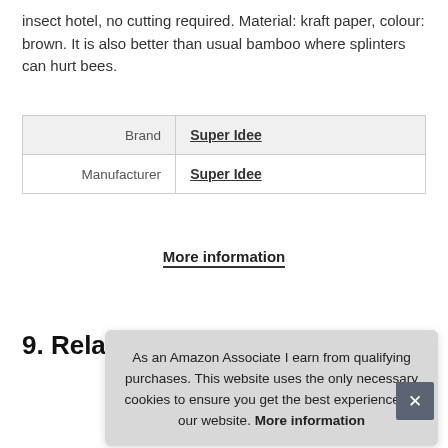insect hotel, no cutting required. Material: kraft paper, colour: brown. It is also better than usual bamboo where splinters can hurt bees.
| Brand | Super Idee |
| Manufacturer | Super Idee |
More information
9. Relaxdays
As an Amazon Associate I earn from qualifying purchases. This website uses the only necessary cookies to ensure you get the best experience on our website. More information